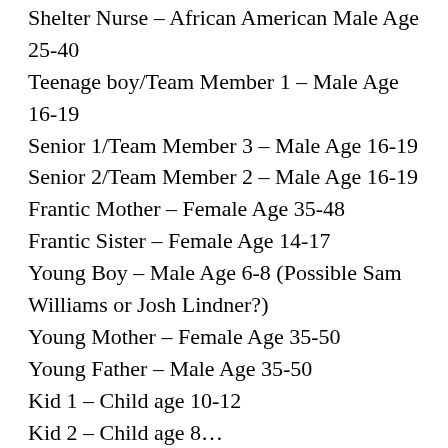Shelter Nurse – African American Male Age 25-40
Teenage boy/Team Member 1 – Male Age 16-19
Senior 1/Team Member 3 – Male Age 16-19
Senior 2/Team Member 2 – Male Age 16-19
Frantic Mother – Female Age 35-48
Frantic Sister – Female Age 14-17
Young Boy – Male Age 6-8 (Possible Sam Williams or Josh Lindner?)
Young Mother – Female Age 35-50
Young Father – Male Age 35-50
Kid 1 – Child age 10-12
Kid 2 – Child age 8…